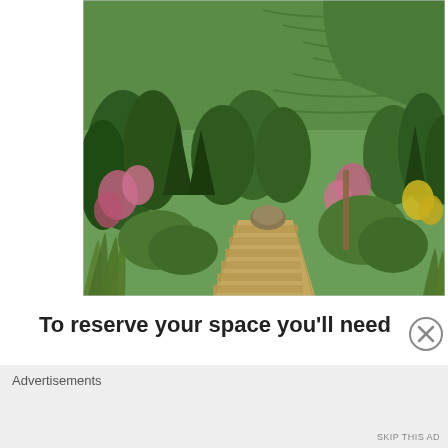[Figure (photo): Outdoor stone stairway path winding through lush green hillside gardens with pink and yellow wildflowers, terraced agricultural fields visible on mountain slopes in the background.]
To reserve your space you’ll need
Advertisements
SKIP THIS AD